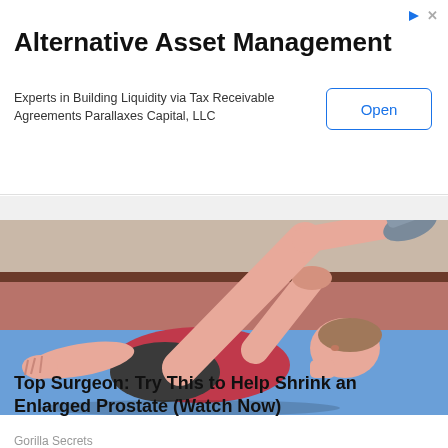Alternative Asset Management
Experts in Building Liquidity via Tax Receivable Agreements Parallaxes Capital, LLC
[Figure (illustration): Illustration of a person lying on their back on a blue exercise mat, pulling one leg up toward their chest in a stretching pose. The scene has a brown/red floor and wall background. The person wears a red shirt and dark shorts.]
Top Surgeon: Try This to Help Shrink an Enlarged Prostate (Watch Now)
Gorilla Secrets